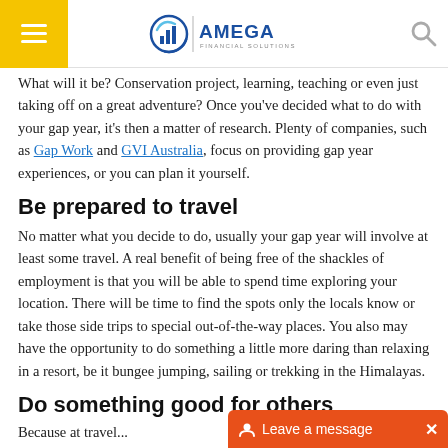Amega Financial Solutions
What will it be? Conservation project, learning, teaching or even just taking off on a great adventure? Once you've decided what to do with your gap year, it's then a matter of research. Plenty of companies, such as Gap Work and GVI Australia, focus on providing gap year experiences, or you can plan it yourself.
Be prepared to travel
No matter what you decide to do, usually your gap year will involve at least some travel. A real benefit of being free of the shackles of employment is that you will be able to spend time exploring your location. There will be time to find the spots only the locals know or take those side trips to special out-of-the-way places. You also may have the opportunity to do something a little more daring than relaxing in a resort, be it bungee jumping, sailing or trekking in the Himalayas.
Do something good for others
Because at travel...